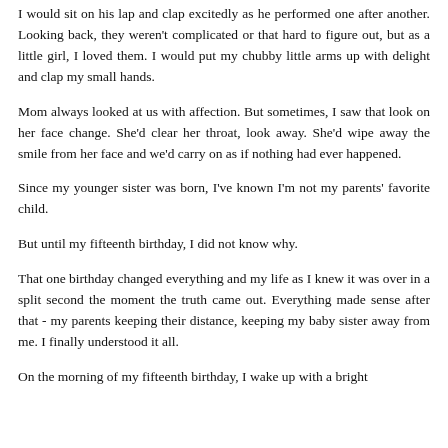I would sit on his lap and clap excitedly as he performed one after another. Looking back, they weren't complicated or that hard to figure out, but as a little girl, I loved them. I would put my chubby little arms up with delight and clap my small hands.
Mom always looked at us with affection. But sometimes, I saw that look on her face change. She'd clear her throat, look away. She'd wipe away the smile from her face and we'd carry on as if nothing had ever happened.
Since my younger sister was born, I've known I'm not my parents' favorite child.
But until my fifteenth birthday, I did not know why.
That one birthday changed everything and my life as I knew it was over in a split second the moment the truth came out. Everything made sense after that - my parents keeping their distance, keeping my baby sister away from me. I finally understood it all.
On the morning of my fifteenth birthday, I wake up with a bright